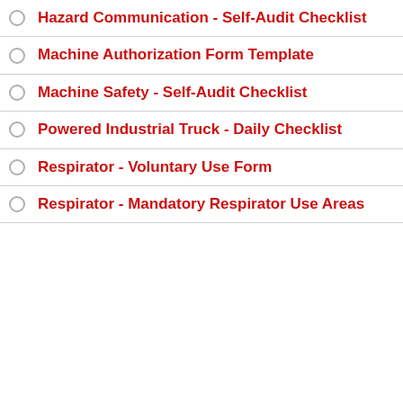Hazard Communication - Self-Audit Checklist
Machine Authorization Form Template
Machine Safety - Self-Audit Checklist
Powered Industrial Truck - Daily Checklist
Respirator - Voluntary Use Form
Respirator - Mandatory Respirator Use Areas